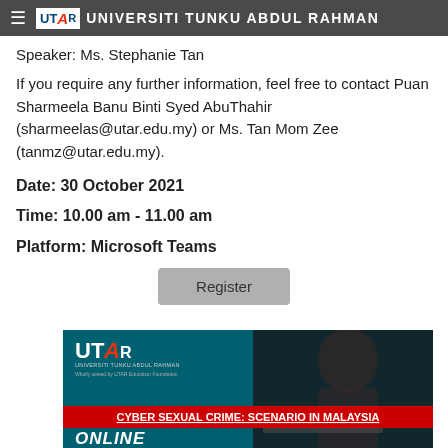UNIVERSITI TUNKU ABDUL RAHMAN
Speaker: Ms. Stephanie Tan
If you require any further information, feel free to contact Puan Sharmeela Banu Binti Syed AbuThahir (sharmeelas@utar.edu.my) or Ms. Tan Mom Zee (tanmz@utar.edu.my).
Date: 30 October 2021
Time: 10.00 am - 11.00 am
Platform: Microsoft Teams
[Figure (screenshot): UTAR promotional banner for online webinar on Cyber Sexual Crime: Scenario in Malaysia, with UTAR logo on teal background, a person at a laptop, red bar with title text, and ONLINE text at the bottom.]